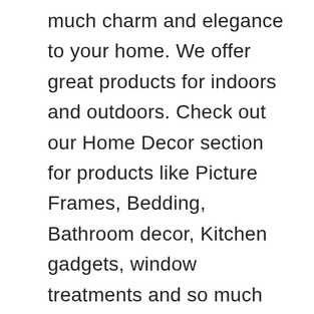much charm and elegance to your home. We offer great products for indoors and outdoors. Check out our Home Decor section for products like Picture Frames, Bedding, Bathroom decor, Kitchen gadgets, window treatments and so much more. In our Garden Decor we offer a variety of unique decor for your patio or yard. . Choose from Planters, Fountains, Birdhouses, Benches,